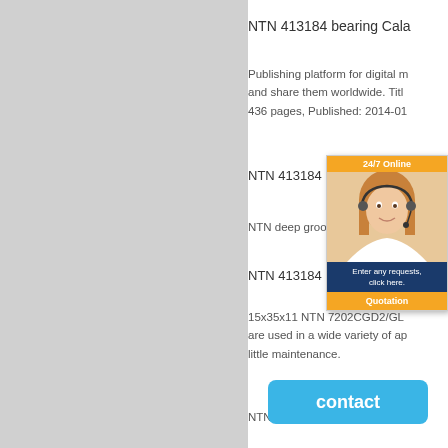NTN 413184 bearing Cala
Publishing platform for digital m and share them worldwide. Title 436 pages, Published: 2014-01
NTN 413184 bea
NTN deep groove b
NTN 413184 bearing 7202
15x35x11 NTN 7202CGD2/GL are used in a wide variety of ap little maintenance.
NTN 4 10 n
[Figure (screenshot): 24/7 Online chat widget with photo of woman wearing headset, blue panel with 'Enter any requests, click here.' text, and orange Quotation button]
[Figure (other): Blue contact button overlay]